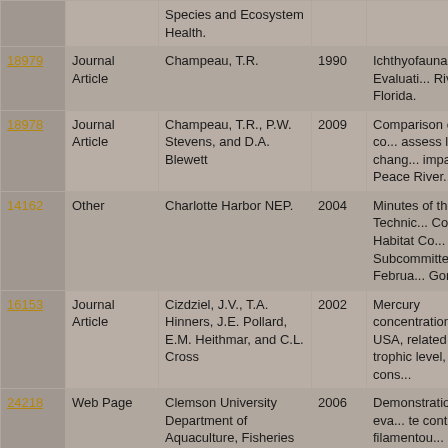| ID | Type | Author | Year | Title |
| --- | --- | --- | --- | --- |
|  |  | Species and Ecosystem Health. |  |  |
| 18979 | Journal Article | Champeau, T.R. | 1990 | Ichthyofaunal Evaluati... River, Florida. |
| 18978 | Journal Article | Champeau, T.R., P.W. Stevens, and D.A. Blewett | 2009 | Comparison of fish co... assess long-term chan... impacts at Peace River... |
| 14162 | Other | Charlotte Harbor NEP. | 2004 | Minutes of the Techni... Committee, Habitat Co... Subcommittee. Februa... Gorda. |
| 16153 | Journal Article | Cizdziel, J.V., T.A. Hinners, J.E. Pollard, E.M. Heithmar, and C.L. Cross | 2002 | Mercury concentration... Mead, USA, related to... trophic level, and cons... |
| 24218 | Web Page | Clemson University Department of Aquaculture, Fisheries and Wildlife. | 2006 | Demonstration and eva... te control of filamentou... and watermeal in irriga... |
| 470 | Report | Courtenay, | 1985 | Florida Atlantic Uni... |